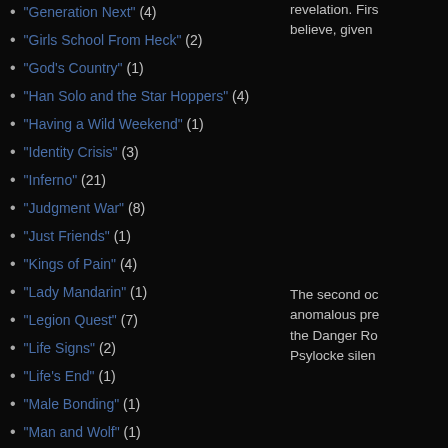"Generation Next" (4)
"Girls School From Heck" (2)
"God's Country" (1)
"Han Solo and the Star Hoppers" (4)
"Having a Wild Weekend" (1)
"Identity Crisis" (3)
"Inferno" (21)
"Judgment War" (8)
"Just Friends" (1)
"Kings of Pain" (4)
"Lady Mandarin" (1)
"Legion Quest" (7)
"Life Signs" (2)
"Life's End" (1)
"Male Bonding" (1)
"Man and Wolf" (1)
"Mutant Genesis" (4)
"Mutant Massacre" (11)
"Old Soldiers" (2)
"Omega Red" (4)
"On the Road" (1)
"Phalanx Covenant" (13)
"Pharaoh's Legacy" (1)
revelation. Firs believe, given
The second oc anomalous pre the Danger Ro Psylocke silen